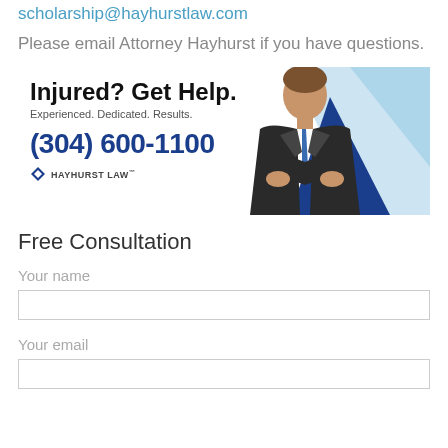scholarship@hayhurstlaw.com
Please email Attorney Hayhurst if you have questions.
[Figure (photo): Hayhurst Law advertisement banner with photo of attorney in suit, blue triangle shapes, text 'Injured? Get Help.', 'Experienced. Dedicated. Results.', '(304) 600-1100', and Hayhurst Law logo.]
Free Consultation
Your name
Your email